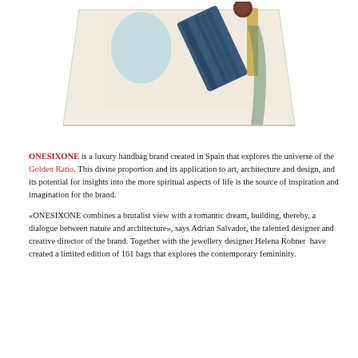[Figure (photo): A luxury handbag with abstract art print — beige/cream structured bag featuring painted geometric shapes: a dark navy brushstroke, a light blue circle, and gold/yellow rectangular stripe on a cream background.]
ONESIXONE is a luxury handbag brand created in Spain that explores the universe of the Golden Ratio. This divine proportion and its application to art, architecture and design, and its potential for insights into the more spiritual aspects of life is the source of inspiration and imagination for the brand.
«ONESIXONE combines a brutalist view with a romantic dream, building, thereby, a dialogue between nature and architecture», says Adrian Salvador, the talented designer and creative director of the brand. Together with the jewellery designer Helena Rohner  have created a limited edition of 161 bags that explores the contemporary femininity.